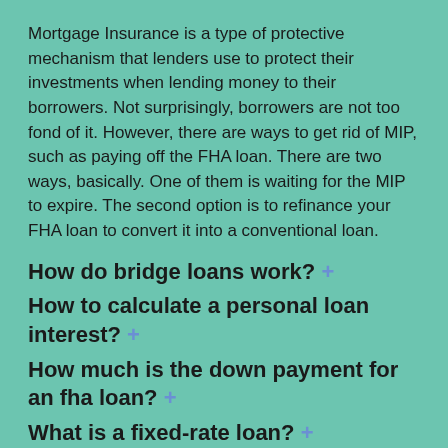Mortgage Insurance is a type of protective mechanism that lenders use to protect their investments when lending money to their borrowers. Not surprisingly, borrowers are not too fond of it. However, there are ways to get rid of MIP, such as paying off the FHA loan. There are two ways, basically. One of them is waiting for the MIP to expire. The second option is to refinance your FHA loan to convert it into a conventional loan.
How do bridge loans work? +
How to calculate a personal loan interest? +
How much is the down payment for an fha loan? +
What is a fixed-rate loan? +